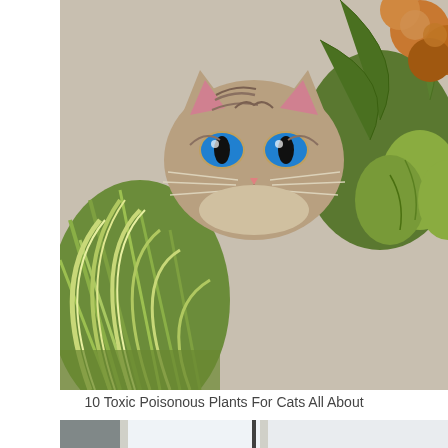[Figure (photo): A tabby kitten with blue eyes peering over green plants, with orange and green flowers in the background]
10 Toxic Poisonous Plants For Cats All About
[Figure (photo): A hanging wire basket planter with lush green plants hanging near a bright window]